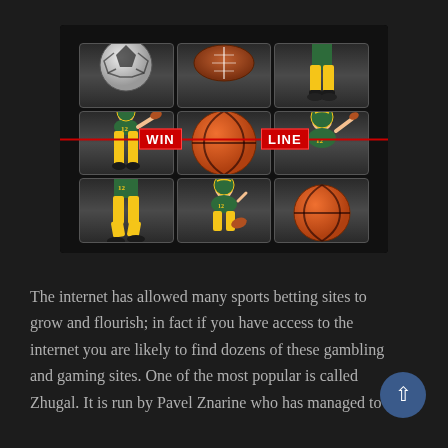[Figure (screenshot): A sports-themed slot machine showing a 3x3 grid with sports items: soccer ball, football, basketball, and football player figures (Green Bay Packers #12). A red 'WIN LINE' banner crosses the middle row.]
The internet has allowed many sports betting sites to grow and flourish; in fact if you have access to the internet you are likely to find dozens of these gambling and gaming sites. One of the most popular is called Zhugal. It is run by Pavel Znarine who has managed to